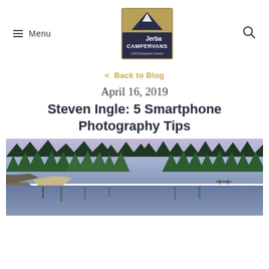Menu | Jerba Campervans 100% Employee Owned | Search
[Figure (logo): Jerba Campervans logo: mountain silhouette with gold/tan upper half and dark navy lower half, text 'Jerba CAMPERVANS 100% Employee Owned' in white]
< Back to Blog
April 16, 2019
Steven Ingle: 5 Smartphone Photography Tips
[Figure (photo): Landscape photo of a lake surrounded by tall evergreen pine trees with a clear purple-blue sky, rocks and a small sandy beach on the left, water reflections visible, a dock/pier visible in the distance on the right.]